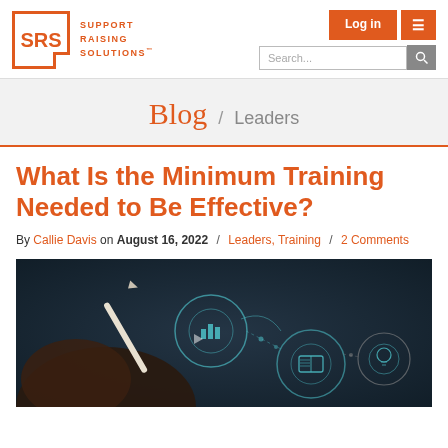SRS Support Raising Solutions — Log in | Search
Blog / Leaders
What Is the Minimum Training Needed to Be Effective?
By Callie Davis on August 16, 2022 / Leaders, Training / 2 Comments
[Figure (photo): A hand holding a stylus pen pointing at a dark digital diagram showing interconnected circular icons including a bar chart icon, a book icon, and a lightbulb icon with glowing teal accents.]